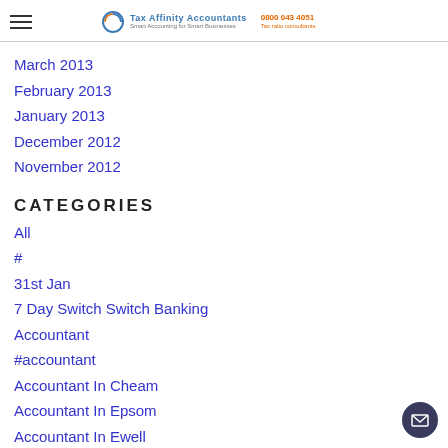Tax Affinity Accountants
March 2013
February 2013
January 2013
December 2012
November 2012
CATEGORIES
All
#
31st Jan
7 Day Switch Switch Banking
Accountant
#accountant
Accountant In Cheam
Accountant In Epsom
Accountant In Ewell
Accountant In Kingston Upon Thames